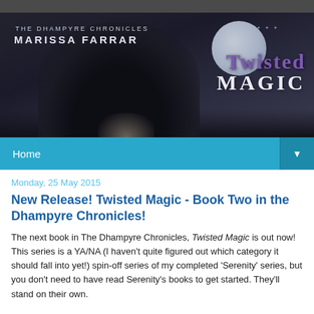[Figure (illustration): Book banner for 'Twisted Magic' by Marissa Farrar, The Dhampyre Chronicles. Dark fantasy image showing a woman with long dark hair seen from behind, a large moon in the background with birds flying, and the title 'Twisted Magic' in purple/white text.]
Home
Monday, 25 May 2015
New Release! Twisted Magic - Book Two in the Dhampyre Chronicles!
The next book in The Dhampyre Chronicles, Twisted Magic is out now! This series is a YA/NA (I haven't quite figured out which category it should fall into yet!) spin-off series of my completed 'Serenity' series, but you don't need to have read Serenity's books to get started. They'll stand on their own.